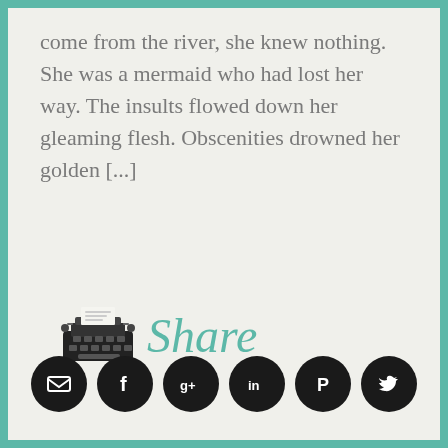come from the river, she knew nothing. She was a mermaid who had lost her way. The insults flowed down her gleaming flesh. Obscenities drowned her golden [...]
[Figure (illustration): A black typewriter icon followed by the word 'Share' in teal cursive script]
FILED UNDER:
FILED UNDER: POETRY, READ, THE BOAT
— 1 COMMENT
[Figure (infographic): Row of six black circular social media icons: email, Facebook, Google+, LinkedIn, Pinterest, Twitter]